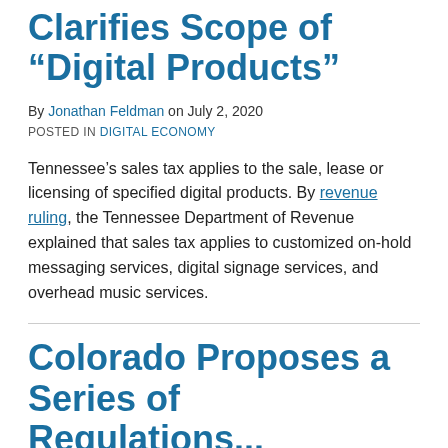Clarifies Scope of “Digital Products”
By Jonathan Feldman on July 2, 2020
POSTED IN DIGITAL ECONOMY
Tennessee’s sales tax applies to the sale, lease or licensing of specified digital products. By revenue ruling, the Tennessee Department of Revenue explained that sales tax applies to customized on-hold messaging services, digital signage services, and overhead music services.
Colorado Proposes a Series of Regulations...